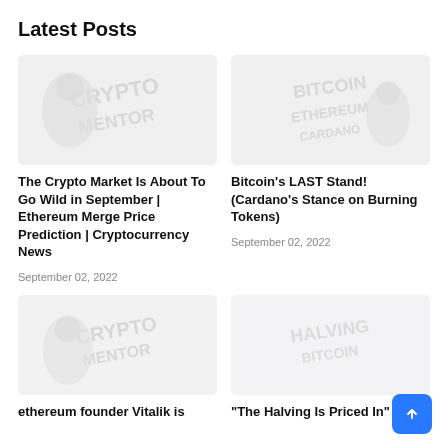Latest Posts
[Figure (photo): Placeholder thumbnail image for crypto market article]
The Crypto Market Is About To Go Wild in September | Ethereum Merge Price Prediction | Cryptocurrency News
September 02, 2022
[Figure (photo): Placeholder thumbnail image for Bitcoin article]
Bitcoin's LAST Stand! (Cardano's Stance on Burning Tokens)
September 02, 2022
[Figure (photo): Placeholder thumbnail image for Ethereum founder article]
ethereum founder Vitalik is
[Figure (photo): Placeholder thumbnail image for halving article]
"The Halving Is Priced In"